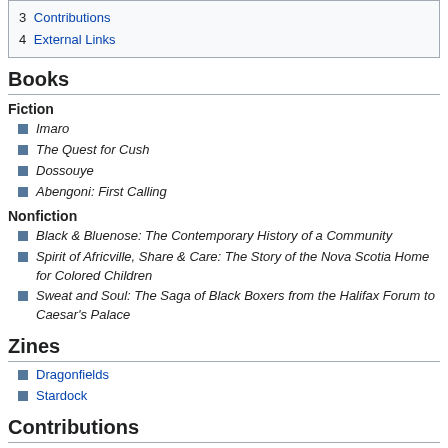3 Contributions
4 External Links
Books
Fiction
Imaro
The Quest for Cush
Dossouye
Abengoni: First Calling
Nonfiction
Black & Bluenose: The Contemporary History of a Community
Spirit of Africville, Share & Care: The Story of the Nova Scotia Home for Colored Children
Sweat and Soul: The Saga of Black Boxers from the Halifax Forum to Caesar's Palace
Zines
Dragonfields
Stardock
Contributions
Astral Dimensions